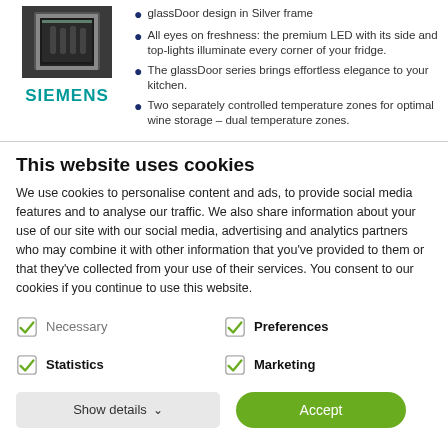[Figure (photo): Siemens wine fridge/cooler product image in dark enclosure with glass door]
glassDoor design in Silver frame
All eyes on freshness: the premium LED with its side and top-lights illuminate every corner of your fridge.
The glassDoor series brings effortless elegance to your kitchen.
Two separately controlled temperature zones for optimal wine storage – dual temperature zones.
This website uses cookies
We use cookies to personalise content and ads, to provide social media features and to analyse our traffic. We also share information about your use of our site with our social media, advertising and analytics partners who may combine it with other information that you've provided to them or that they've collected from your use of their services. You consent to our cookies if you continue to use this website.
Necessary
Preferences
Statistics
Marketing